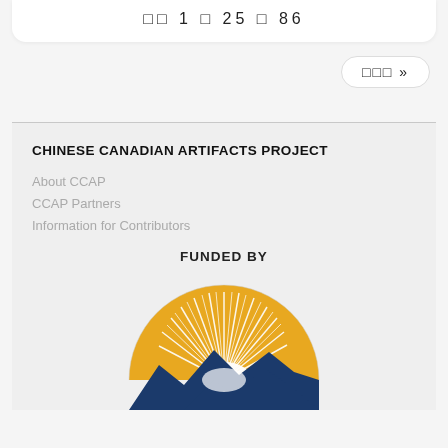□□ 1 □ 25 □ 86
□□□ »
CHINESE CANADIAN ARTIFACTS PROJECT
About CCAP
CCAP Partners
Information for Contributors
FUNDED BY
[Figure (logo): Semi-circular logo with golden sunburst rays above blue mountain silhouettes, white glow at horizon center]